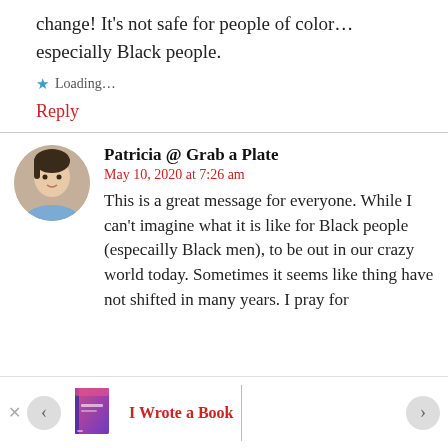change! It's not safe for people of color...especially Black people.
Loading...
Reply
Patricia @ Grab a Plate
May 10, 2020 at 7:26 am
This is a great message for everyone. While I can't imagine what it is like for Black people (especailly Black men), to be out in our crazy world today. Sometimes it seems like thing have not shifted in many years. I pray for
I Wrote a Book